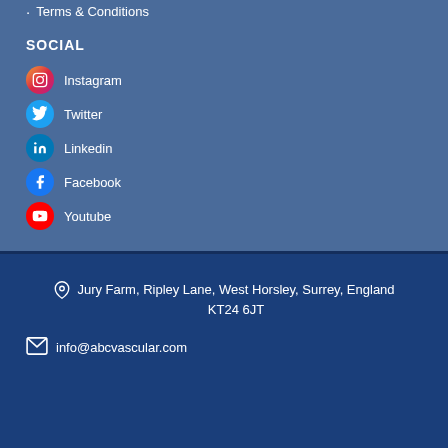Terms & Conditions
SOCIAL
Instagram
Twitter
Linkedin
Facebook
Youtube
Jury Farm, Ripley Lane, West Horsley, Surrey, England KT24 6JT
info@abcvascular.com